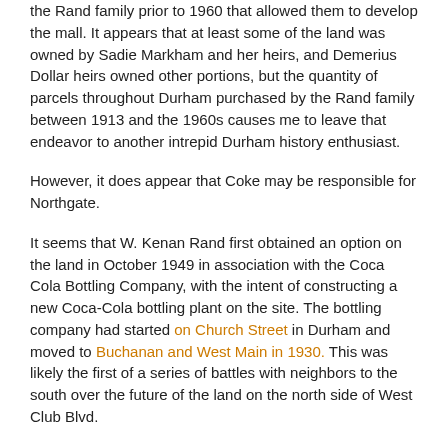the Rand family prior to 1960 that allowed them to develop the mall. It appears that at least some of the land was owned by Sadie Markham and her heirs, and Demerius Dollar heirs owned other portions, but the quantity of parcels throughout Durham purchased by the Rand family between 1913 and the 1960s causes me to leave that endeavor to another intrepid Durham history enthusiast.
However, it does appear that Coke may be responsible for Northgate.
It seems that W. Kenan Rand first obtained an option on the land in October 1949 in association with the Coca Cola Bottling Company, with the intent of constructing a new Coca-Cola bottling plant on the site. The bottling company had started on Church Street in Durham and moved to Buchanan and West Main in 1930. This was likely the first of a series of battles with neighbors to the south over the future of the land on the north side of West Club Blvd.
The October 4, 1949 Durham Morning Herald reads:
"... [A] double disapproval was dealt a request made by W. Murray Jones, on behalf of WK Rand and the Durham Coca-Cola Bottling Company for a proposed change from an A